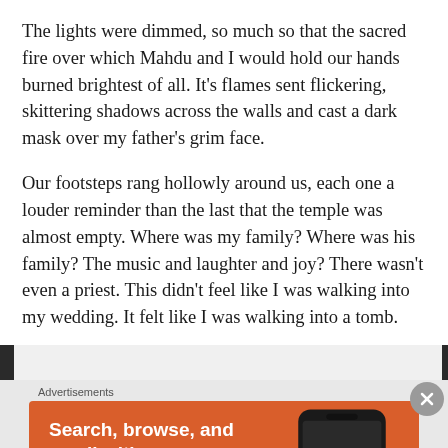The lights were dimmed, so much so that the sacred fire over which Mahdu and I would hold our hands burned brightest of all. It's flames sent flickering, skittering shadows across the walls and cast a dark mask over my father's grim face.
Our footsteps rang hollowly around us, each one a louder reminder than the last that the temple was almost empty. Where was my family? Where was his family? The music and laughter and joy? There wasn't even a priest. This didn't feel like I was walking into my wedding. It felt like I was walking into a tomb.
Advertisements
[Figure (other): DuckDuckGo advertisement banner with orange background showing phone mockup and text: Search, browse, and email with more privacy. All in One Free App]